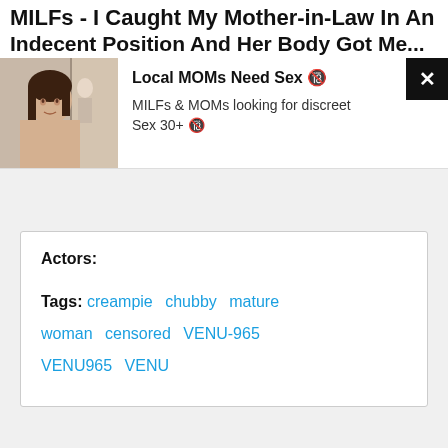MILFs - I Caught My Mother-in-Law In An Indecent Position And Her Body Got Me...
[Figure (photo): Advertisement banner with photo of a woman and text 'Local MOMs Need Sex' with close button]
Actors:
Tags: creampie  chubby  mature  woman  censored  VENU-965  VENU965  VENU